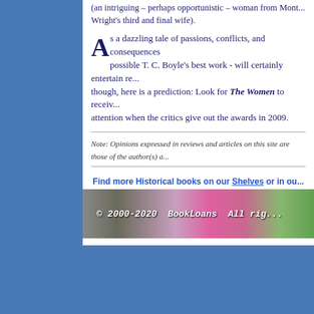(an intriguing - perhaps opportunistic - woman from Mont... Wright's third and final wife).
As a dazzling tale of passions, conflicts, and consequences - possible T. C. Boyle's best work - will certainly entertain re... though, here is a prediction: Look for The Women to receiv... attention when the critics give out the awards in 2009.
Note: Opinions expressed in reviews and articles on this site are those of the author(s) a...
Find more Historical books on our Shelves or in ou...
Author
© 2000-2020 BookLoans All rig...